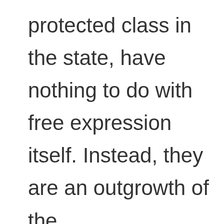protected class in the state, have nothing to do with free expression itself. Instead, they are an outgrowth of the